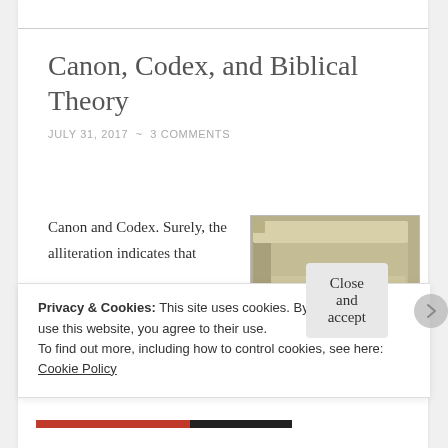Canon, Codex, and Biblical Theory
JULY 31, 2017  ~  3 COMMENTS
Canon and Codex. Surely, the alliteration indicates that
[Figure (photo): A beige/tan colored cabinet or box drawer, possibly a card catalog drawer, with a label holder, photographed at an angle.]
Privacy & Cookies: This site uses cookies. By continuing to use this website, you agree to their use.
To find out more, including how to control cookies, see here: Cookie Policy
Close and accept